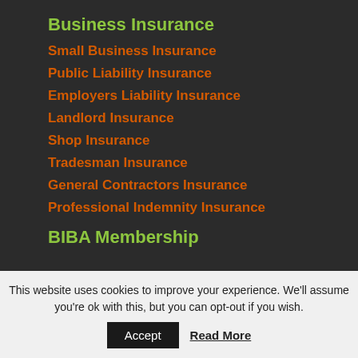Business Insurance
Small Business Insurance
Public Liability Insurance
Employers Liability Insurance
Landlord Insurance
Shop Insurance
Tradesman Insurance
General Contractors Insurance
Professional Indemnity Insurance
BIBA Membership
[Figure (logo): BIBA (British Insurance Brokers' Association) membership logo with partial circular emblem and 'British' text visible]
This website uses cookies to improve your experience. We'll assume you're ok with this, but you can opt-out if you wish.
Accept
Read More